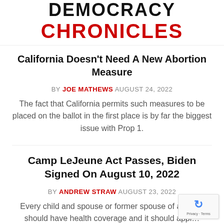DEMOCRACY CHRONICLES
California Doesn't Need A New Abortion Measure
BY JOE MATHEWS AUGUST 24, 2022
The fact that California permits such measures to be placed on the ballot in the first place is by far the biggest issue with Prop 1.
Camp LeJeune Act Passes, Biden Signed On August 10, 2022
BY ANDREW STRAW AUGUST 23, 2022
Every child and spouse or former spouse of any v… should have health coverage and it should appl… matter where they live.